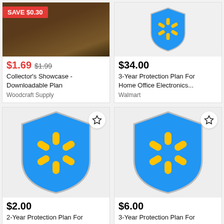[Figure (screenshot): Product card: Collector's Showcase Downloadable Plan with SAVE $0.30 badge, price $1.69 (was $1.99), seller Woodcraft Supply]
[Figure (screenshot): Product card: 3-Year Protection Plan For Home Office Electronics, price $34.00, seller Walmart, with Walmart shield logo]
[Figure (logo): Walmart protection plan shield logo for 2-Year Protection Plan For Home Office Electronics, $2.00]
[Figure (logo): Walmart protection plan shield logo for 3-Year Protection Plan For Appliances & Miscellaneous, $6.00]